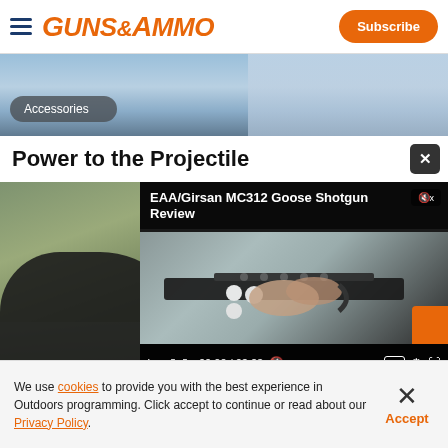GUNS&AMMO — Subscribe
[Figure (photo): Outdoor background image strip with blue-grey sky and natural scenery, with Accessories badge overlay]
Accessories
Power to the Projectile
[Figure (screenshot): Video player showing EAA/Girsan MC312 Goose Shotgun Review, with video controls bar showing 00:00 / 02:23. Overlaps background photo of person holding a shotgun outdoors.]
We use cookies to provide you with the best experience in Outdoors programming. Click accept to continue or read about our Privacy Policy.